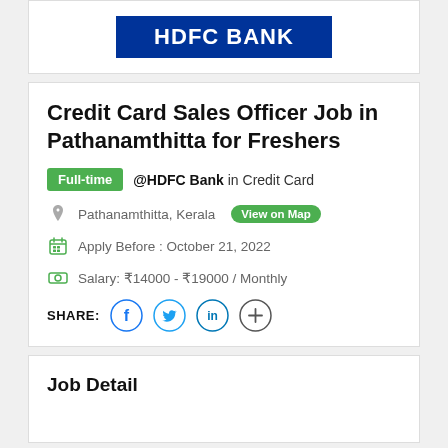[Figure (logo): HDFC Bank logo — white bold text on dark blue background]
Credit Card Sales Officer Job in Pathanamthitta for Freshers
Full-time @HDFC Bank in Credit Card
Pathanamthitta, Kerala  View on Map
Apply Before : October 21, 2022
Salary: ₹14000 - ₹19000 / Monthly
SHARE: [Facebook] [Twitter] [LinkedIn] [More]
Job Detail